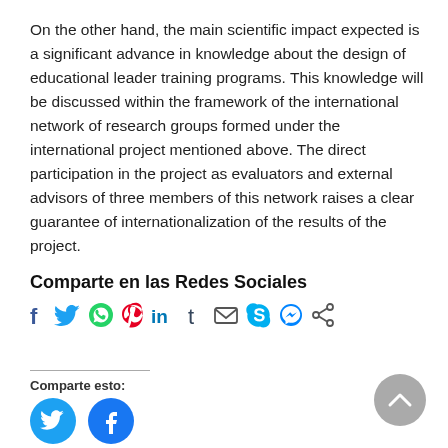On the other hand, the main scientific impact expected is a significant advance in knowledge about the design of educational leader training programs. This knowledge will be discussed within the framework of the international network of research groups formed under the international project mentioned above. The direct participation in the project as evaluators and external advisors of three members of this network raises a clear guarantee of internationalization of the results of the project.
Comparte en las Redes Sociales
[Figure (infographic): Row of social media sharing icons: Facebook, Twitter, WhatsApp, Pinterest, LinkedIn, Tumblr, Email, Skype, Messenger, Share]
Comparte esto:
[Figure (infographic): Two circular social share buttons: Twitter (cyan) and Facebook (blue)]